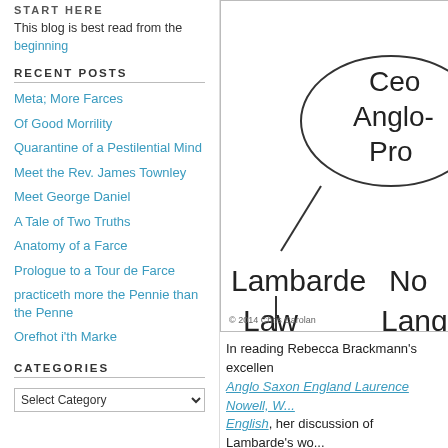START HERE
This blog is best read from the beginning
RECENT POSTS
Meta; More Farces
Of Good Morrility
Quarantine of a Pestilential Mind
Meet the Rev. James Townley
Meet George Daniel
A Tale of Two Truths
Anatomy of a Farce
Prologue to a Tour de Farce
practiceth more the Pennie than the Penne
Orefhot i'th Marke
CATEGORIES
[Figure (other): Diagram showing relationships between Lambarde, Law, Language (Lang), and Anglo-Saxon-related concepts (Ceo, Anglo, Pro) connected by lines and an ellipse. Copyright 2014 Chris Carolan.]
In reading Rebecca Brackmann's excellen Anglo Saxon England Laurence Nowell, W... English, her discussion of Lambarde's wo...